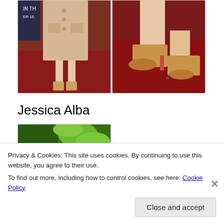[Figure (photo): Two photos side by side: left shows a woman in a beige/tan dress on a red carpet with a movie poster behind her, right shows a close-up of tan high-heel shoes on a red carpet]
Jessica Alba
[Figure (photo): Photo of a smiling woman (Jessica Alba) outdoors with green foliage in the background]
Privacy & Cookies: This site uses cookies. By continuing to use this website, you agree to their use.
To find out more, including how to control cookies, see here: Cookie Policy